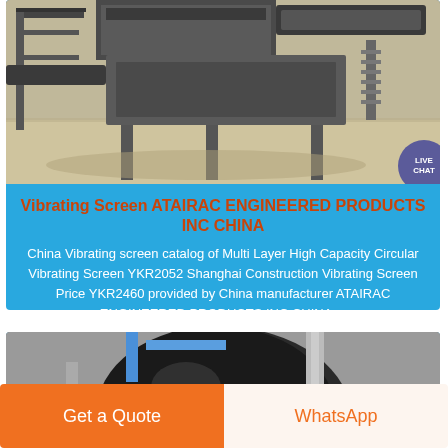[Figure (photo): Industrial vibrating screen machinery in a factory setting, showing conveyor belts and industrial equipment on a sandy floor.]
Vibrating Screen ATAIRAC ENGINEERED PRODUCTS INC CHINA
China Vibrating screen catalog of Multi Layer High Capacity Circular Vibrating Screen YKR2052 Shanghai Construction Vibrating Screen Price YKR2460 provided by China manufacturer ATAIRAC ENGINEERED PRODUCTS INC CHINA ...
[Figure (photo): Large dark spherical industrial tank or vessel inside a factory or processing facility.]
Get a Quote
WhatsApp